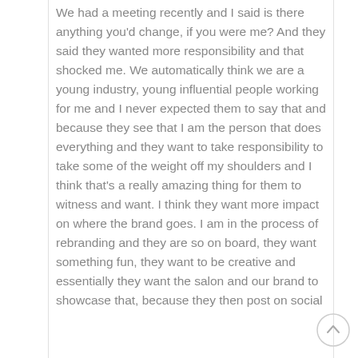We had a meeting recently and I said is there anything you'd change, if you were me? And they said they wanted more responsibility and that shocked me. We automatically think we are a young industry, young influential people working for me and I never expected them to say that and because they see that I am the person that does everything and they want to take responsibility to take some of the weight off my shoulders and I think that's a really amazing thing for them to witness and want. I think they want more impact on where the brand goes. I am in the process of rebranding and they are so on board, they want something fun, they want to be creative and essentially they want the salon and our brand to showcase that, because they then post on social